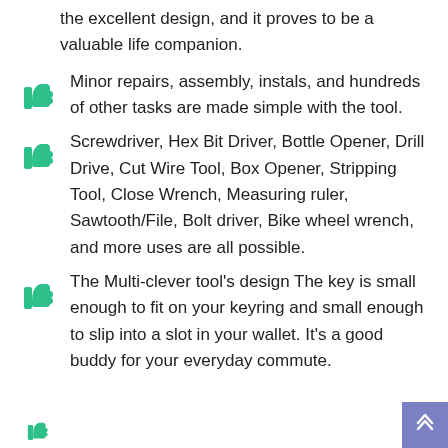the excellent design, and it proves to be a valuable life companion.
Minor repairs, assembly, instals, and hundreds of other tasks are made simple with the tool.
Screwdriver, Hex Bit Driver, Bottle Opener, Drill Drive, Cut Wire Tool, Box Opener, Stripping Tool, Close Wrench, Measuring ruler, Sawtooth/File, Bolt driver, Bike wheel wrench, and more uses are all possible.
The Multi-clever tool's design The key is small enough to fit on your keyring and small enough to slip into a slot in your wallet. It's a good buddy for your everyday commute.